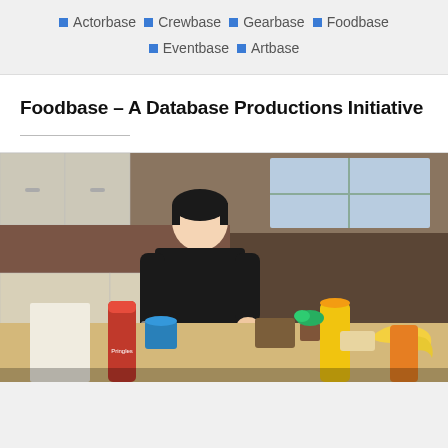Actorbase · Crewbase · Gearbase · Foodbase · Eventbase · Artbase
Foodbase – A Database Productions Initiative
[Figure (photo): A young man in a black shirt cooking or preparing food in a kitchen, with various grocery items and food products spread across a counter in the foreground.]